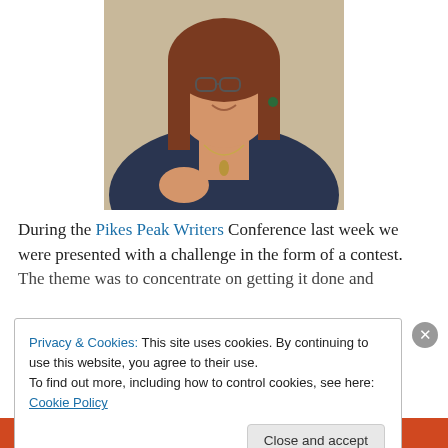[Figure (photo): Woman with glasses and long brown hair, wearing a blue patterned top and silver necklace with key pendant, smiling, photographed from chest up]
During the Pikes Peak Writers Conference last week we were presented with a challenge in the form of a contest. The theme was to concentrate on getting it done and
Privacy & Cookies: This site uses cookies. By continuing to use this website, you agree to their use.
To find out more, including how to control cookies, see here: Cookie Policy
Close and accept
DuckDuckGo